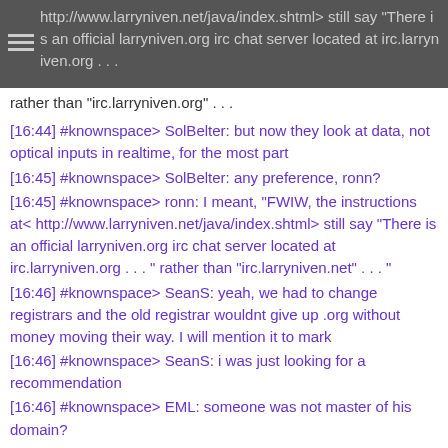http://www.larryniven.net/java/index.shtml> still say "There is an official larryniven.org irc chat server located at irc.larryniven.org . . .
rather than "irc.larryniven.org" . . .
[16:44] #knownspace> SolBelter: but now they look at data, not optical inputs in realtime, for the most part
[16:45] #knownspace> SolBelter: any preference, ronn?
[16:45] #knownspace> ronn: I meant, "FWIW, the instructions at< http://www.larryniven.net/java/index.shtml> still say "There is an official larryniven.org irc chat server located at irc.larryniven.org . . . " rather than "irc.larryniven.net" . . . "
[16:46] #knownspace> SeanS: yeah, we had to change registrars and the old registrar wouldnt give up .org without money moving their way. I will mention it to mark
[16:46] #knownspace> SeanS: i was just looking for a recommendation
[16:46] #knownspace> EML: someone was not master of his domain?
[16:46] #knownspace> SeanS: they wanted too much money
[16:47] #knownspace> ronn: A preference as to what to be called?